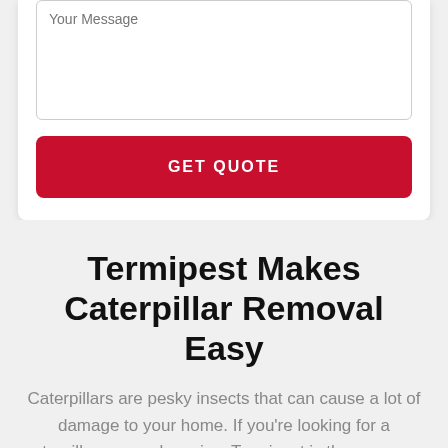Your Message
GET QUOTE
Termipest Makes Caterpillar Removal Easy
Caterpillars are pesky insects that can cause a lot of damage to your home. If you're looking for a caterpillar removal service, Termipest is the company for you! In just three easy steps, we can take care of those caterpillars for you.